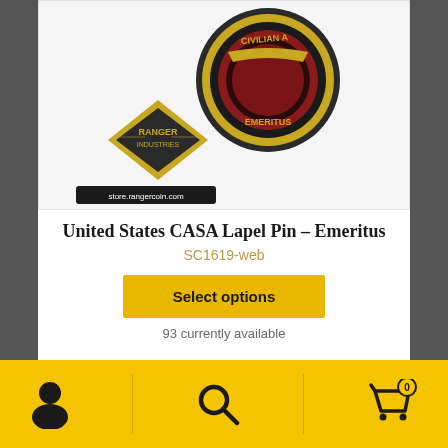[Figure (photo): Product photo of a United States CASA Lapel Pin Emeritus badge with gold and dark red enamel, with a Ranger Industries diamond logo and store.rangercoin.com label at bottom left of image]
United States CASA Lapel Pin – Emeritus
SC1619-web
Select options
93 currently available
Navigation footer with user account icon, search icon, and shopping cart icon with badge showing 0